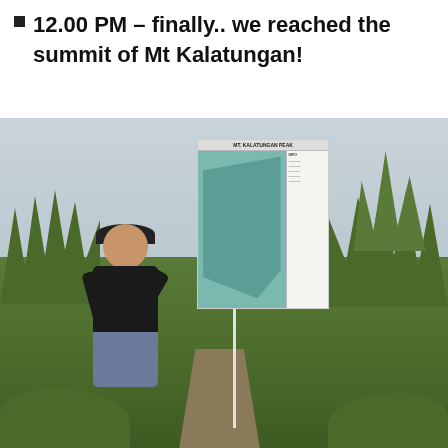12.00 PM – finally.. we reached the summit of Mt Kalatungan!
[Figure (photo): A woman wearing a dark long-sleeve Nike shirt and black cap stands smiling next to a large information sign board reading 'MT. KALATUNGAN PEAK' at the summit. The sign shows a map of the area. The background shows misty grey sky, green grass mounds, and tall grass tufts typical of a mountain summit.]